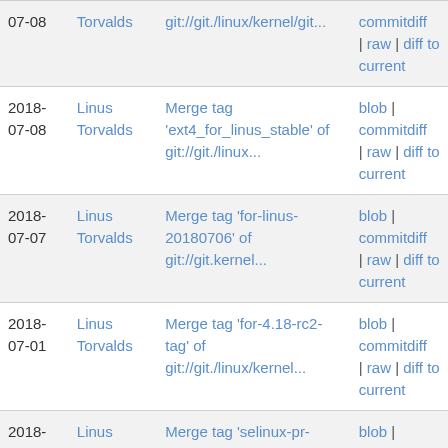| Date | Author | Message | Links |
| --- | --- | --- | --- |
| 07-08 | Linus Torvalds | git://git./linux/kernel/git... | commitdiff | raw | diff to current |
| 2018-07-08 | Linus Torvalds | Merge tag 'ext4_for_linus_stable' of git://git./linux... | blob | commitdiff | raw | diff to current |
| 2018-07-07 | Linus Torvalds | Merge tag 'for-linus-20180706' of git://git.kernel... | blob | commitdiff | raw | diff to current |
| 2018-07-01 | Linus Torvalds | Merge tag 'for-4.18-rc2-tag' of git://git./linux/kernel... | blob | commitdiff | raw | diff to current |
| 2018-06-30 | Linus Torvalds | Merge tag 'selinux-pr-20180629' of git://git./linux... | blob | commitdiff | raw | diff to current |
| 2018-06-30 | Linus Torvalds | Merge tag 'for-linus-20180629' of git://git.kernel... | blob | commitdiff | raw | diff |